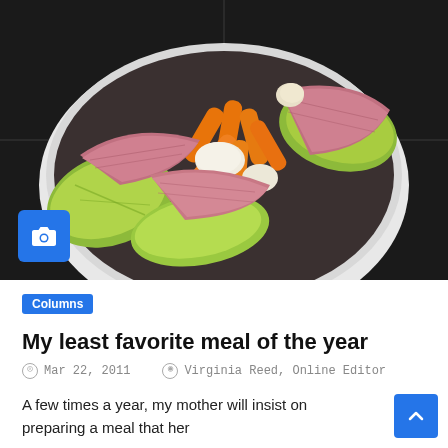[Figure (photo): A white bowl filled with corned beef and cabbage dish: sliced pink corned beef, bright orange carrots, green cabbage wedges, and white onion/potato pieces arranged on a dark tiled surface]
Columns
My least favorite meal of the year
Mar 22, 2011   Virginia Reed, Online Editor
A few times a year, my mother will insist on preparing a meal that her...